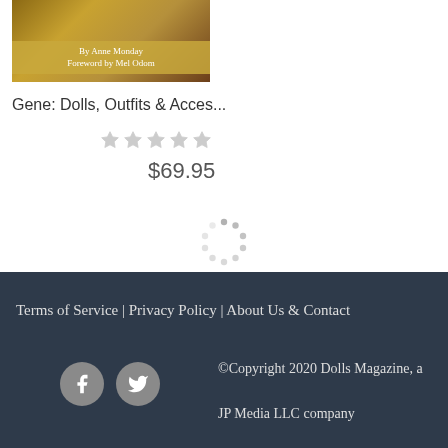[Figure (illustration): Book cover image with golden/brown background and text overlay reading 'By Anne Monday' and 'Foreword by Mel Odom']
Gene: Dolls, Outfits & Acces...
[Figure (other): Five empty/unfilled star rating icons in gray]
$69.95
[Figure (other): Loading spinner made of dots arranged in a circle]
Terms of Service | Privacy Policy | About Us & Contact
©Copyright 2020 Dolls Magazine, a JP Media LLC company